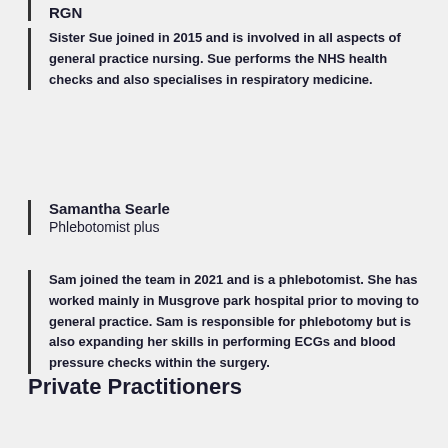RGN
Sister Sue joined in 2015 and is involved in all aspects of general practice nursing. Sue performs the NHS health checks and also specialises in respiratory medicine.
Samantha Searle
Phlebotomist plus
Sam joined the team in 2021 and is a phlebotomist. She has worked mainly in Musgrove park hospital prior to moving to general practice. Sam is responsible for phlebotomy but is also expanding her skills in performing ECGs and blood pressure checks within the surgery.
Private Practitioners